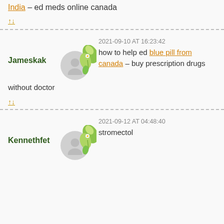India – ed meds online canada
↑↓
2021-09-10 AT 16:23:42
Jameskak
how to help ed blue pill from canada – buy prescription drugs without doctor
↑↓
2021-09-12 AT 04:48:40
Kennethfet
stromectol